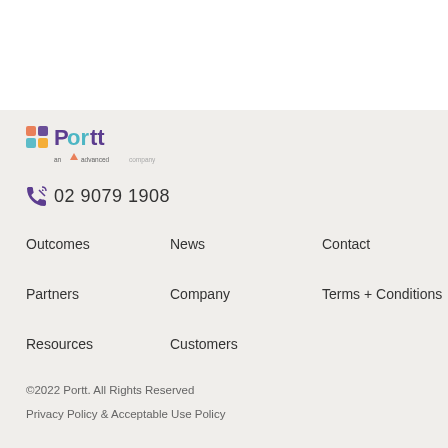[Figure (logo): Portt logo - colorful square icon with 'Portt' text and 'an advanced company' tagline]
02 9079 1908
Outcomes
News
Contact
Partners
Company
Terms + Conditions
Resources
Customers
©2022 Portt. All Rights Reserved
Privacy Policy & Acceptable Use Policy